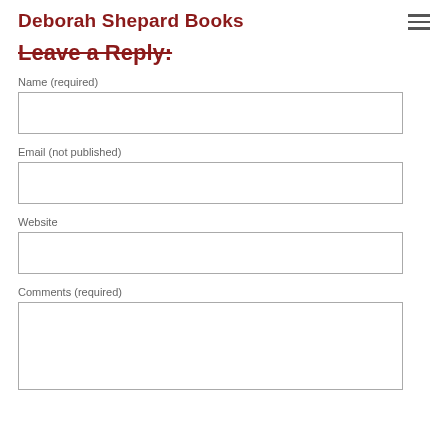Deborah Shepard Books
Leave a Reply:
Name (required)
Email (not published)
Website
Comments (required)